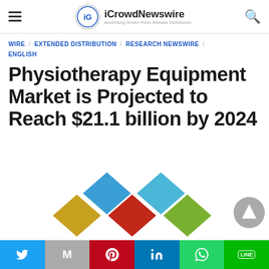iCrowdNewswire — Advertising Driven Press Release Distribution
WIRE / EXTENDED DISTRIBUTION / RESEARCH NEWSWIRE / ENGLISH
Physiotherapy Equipment Market is Projected to Reach $21.1 billion by 2024
[Figure (logo): iCrowdNewswire diamond logo mark with colored diamond shapes in blue, gold, red, and green]
Social sharing bar: Twitter, Gmail, Pinterest, LinkedIn, WhatsApp, Line